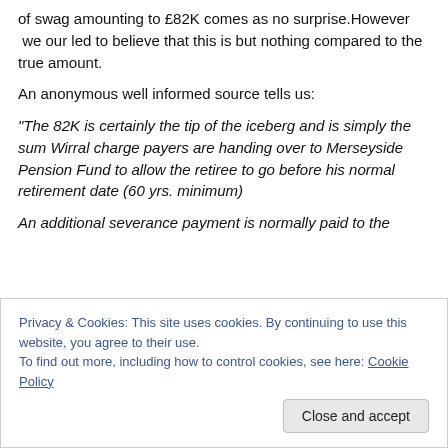of swag amounting to £82K comes as no surprise.However  we our led to believe that this is but nothing compared to the true amount.
An anonymous well informed source tells us:
“The 82K is certainly the tip of the iceberg and is simply the sum Wirral charge payers are handing over to Merseyside Pension Fund to allow the retiree to go before his normal retirement date (60 yrs. minimum)
An additional severance payment is normally paid to the
Privacy & Cookies: This site uses cookies. By continuing to use this website, you agree to their use.
To find out more, including how to control cookies, see here: Cookie Policy